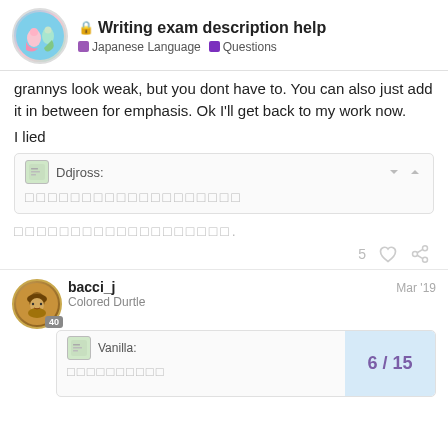Writing exam description help — Japanese Language · Questions
grannys look weak, but you dont have to. You can also just add it in between for emphasis. Ok I'll get back to my work now.
I lied
[Figure (screenshot): Quoted post by Ddjross with Japanese text placeholder]
Japanese text placeholder followed by period
5 likes
bacci_j — Colored Durtle — Mar '19 — Level 40
[Figure (screenshot): Quoted post by Vanilla with partial Japanese text and page navigation 6/15]